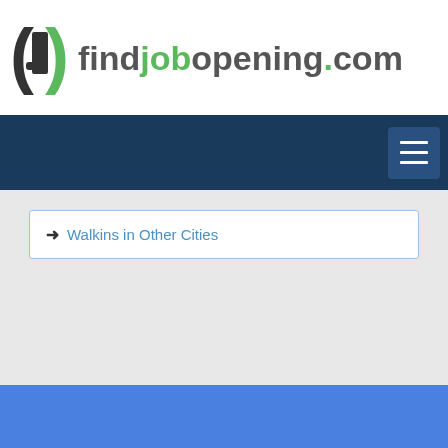[Figure (logo): findjobopening.com logo with bracket icon on the left and site name text in gray and green]
[Figure (other): Dark navy navigation bar with hamburger menu button (three horizontal white lines) on the right side]
→ Walkins in Other Cities